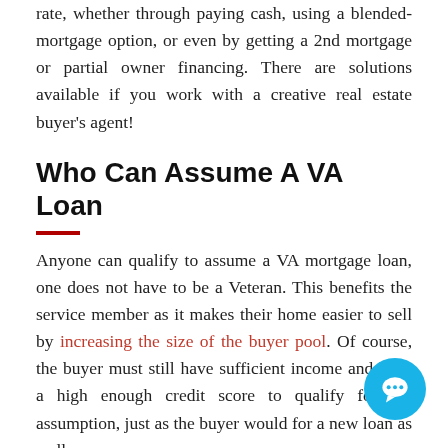rate, whether through paying cash, using a blended-mortgage option, or even by getting a 2nd mortgage or partial owner financing. There are solutions available if you work with a creative real estate buyer's agent!
Who Can Assume A VA Loan
Anyone can qualify to assume a VA mortgage loan, one does not have to be a Veteran. This benefits the service member as it makes their home easier to sell by increasing the size of the buyer pool. Of course, the buyer must still have sufficient income and have a high enough credit score to qualify for the assumption, just as the buyer would for a new loan as well.
The ability to assume a VA mortgage loan is roughly the same as to get a new loan, but a buyer should consider the